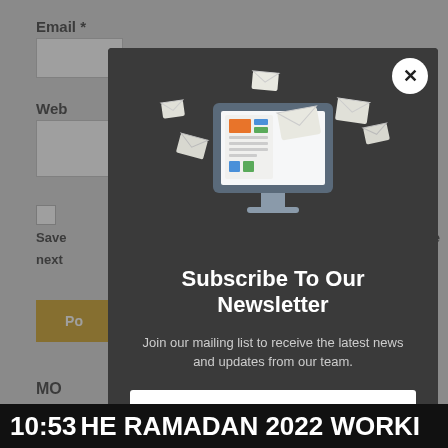Email *
Web
Save ... the next ...
Po
MO
[Figure (screenshot): Newsletter subscription modal popup overlay on a website. The modal has a dark gray background with an illustration of a computer monitor with envelope/newsletter graphics floating around it. It contains a title 'Subscribe To Our Newsletter', descriptive text, an email input field, and a subscribe button. A close (X) button appears in the top right corner.]
Subscribe To Our Newsletter
Join our mailing list to receive the latest news and updates from our team.
Email
10:53 HE RAMADAN 2022 WORKI